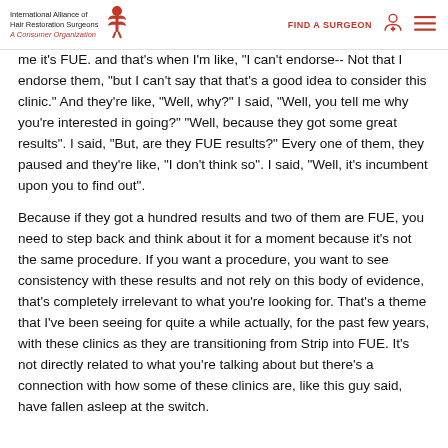International Alliance of Hair Restoration Surgeons — A Consumer Organization | FIND A SURGEON
me it's FUE. and that's when I'm like, "I can't endorse-- Not that I endorse them, "but I can't say that that's a good idea to consider this clinic." And they're like, "Well, why?" I said, "Well, you tell me why you're interested in going?" "Well, because they got some great results". I said, "But, are they FUE results?" Every one of them, they paused and they're like, "I don't think so". I said, "Well, it's incumbent upon you to find out".
Because if they got a hundred results and two of them are FUE, you need to step back and think about it for a moment because it's not the same procedure. If you want a procedure, you want to see consistency with these results and not rely on this body of evidence, that's completely irrelevant to what you're looking for. That's a theme that I've been seeing for quite a while actually, for the past few years, with these clinics as they are transitioning from Strip into FUE. It's not directly related to what you're talking about but there's a connection with how some of these clinics are, like this guy said, have fallen asleep at the switch.